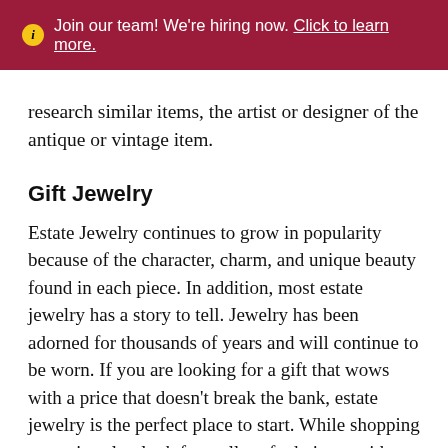ℹ Join our team! We're hiring now. Click to learn more.
research similar items, the artist or designer of the antique or vintage item.
Gift Jewelry
Estate Jewelry continues to grow in popularity because of the character, charm, and unique beauty found in each piece. In addition, most estate jewelry has a story to tell. Jewelry has been adorned for thousands of years and will continue to be worn. If you are looking for a gift that wows with a price that doesn't break the bank, estate jewelry is the perfect place to start. While shopping estate jewelry, look for well-crafted pieces with sturdy prongs and clasps that show minimal signs of wear. If you are shopping for estate jewelry with diamonds or gems try to